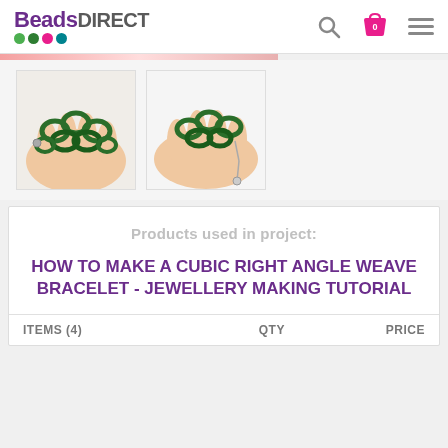Beads Direct
[Figure (photo): Two thumbnail photos of a green cubic right angle weave bracelet held in a hand]
Products used in project:
HOW TO MAKE A CUBIC RIGHT ANGLE WEAVE BRACELET - JEWELLERY MAKING TUTORIAL
| ITEMS (4) | QTY | PRICE |
| --- | --- | --- |